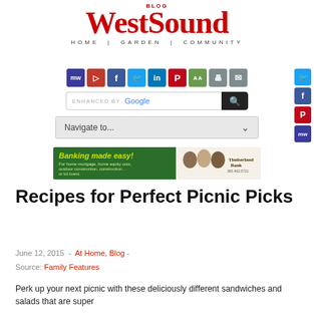[Figure (logo): WestSound Blog logo with tagline HOME | GARDEN | COMMUNITY]
[Figure (screenshot): Row of social media sharing icons: MeWe, Parler, Facebook, Twitter, LinkedIn, Pinterest, Translate, Print, Email]
[Figure (screenshot): Right-side social icons: Twitter, Facebook, Pinterest, MeWe]
[Figure (screenshot): Enhanced by Google search bar with search button]
[Figure (screenshot): Navigate to... dropdown navigation selector]
[Figure (screenshot): Timberland Bank advertisement banner: Banking made easy!]
Recipes for Perfect Picnic Picks
June 12, 2015  -  At Home, Blog  -
Source: Family Features
Perk up your next picnic with these deliciously different sandwiches and salads that are super